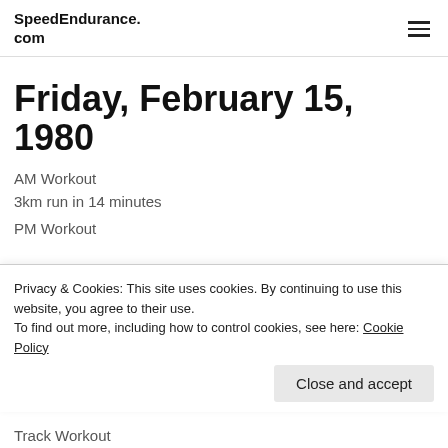SpeedEndurance.com
Friday, February 15, 1980
AM Workout
3km run in 14 minutes
PM Workout
Privacy & Cookies: This site uses cookies. By continuing to use this website, you agree to their use. To find out more, including how to control cookies, see here: Cookie Policy
Close and accept
Track Workout